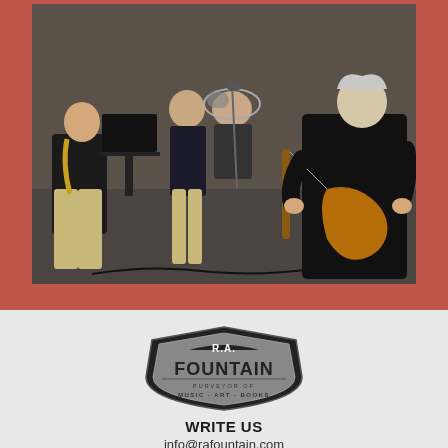[Figure (photo): Band performing music in an indoor venue. Several musicians visible including a guitarist in a black shirt on the right, a saxophonist on the left, and a drummer in the background. Musicians are seated and playing.]
[Figure (logo): R.A. Fountain logo - shield/badge shaped logo with 'R.A.' at top, 'FOUNTAIN' in large letters in middle, and 'PURVEYOR OF MUSIC·ART·BOOKS' at bottom. Black and silver/grey color scheme.]
WRITE US
info@rafountain.com